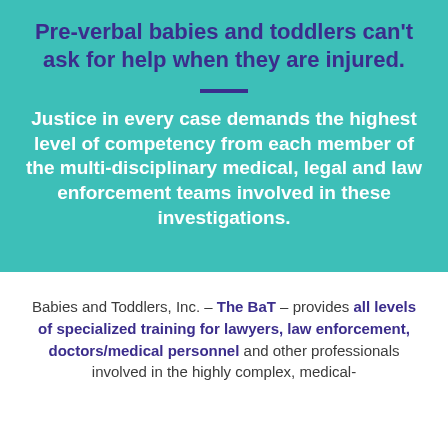Pre-verbal babies and toddlers can't ask for help when they are injured.
Justice in every case demands the highest level of competency from each member of the multi-disciplinary medical, legal and law enforcement teams involved in these investigations.
Babies and Toddlers, Inc. – The BaT – provides all levels of specialized training for lawyers, law enforcement, doctors/medical personnel and other professionals involved in the highly complex, medical-